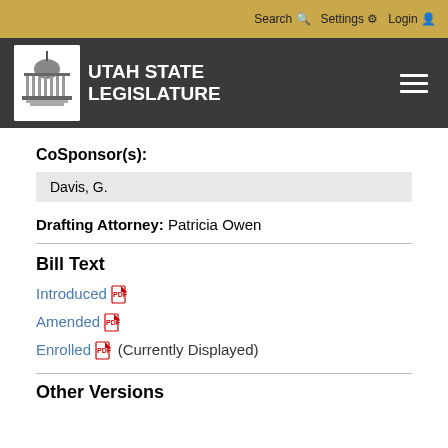Search  Settings  Login
[Figure (logo): Utah State Legislature logo with capitol building icon and white text on dark background]
CoSponsor(s):
Davis, G.
Drafting Attorney: Patricia Owen
Bill Text
Introduced [PDF]
Amended [PDF]
Enrolled [PDF] (Currently Displayed)
Other Versions